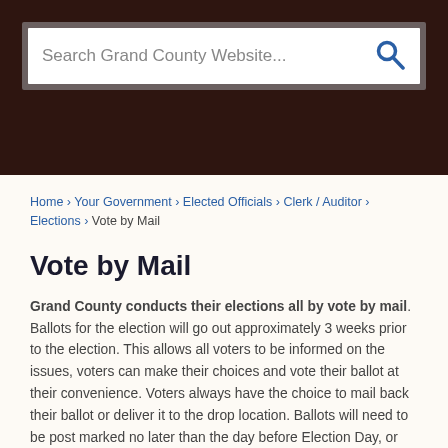[Figure (screenshot): Search bar for Grand County Website with placeholder text and search icon]
Home › Your Government › Elected Officials › Clerk / Auditor › Elections › Vote by Mail
Vote by Mail
Grand County conducts their elections all by vote by mail. Ballots for the election will go out approximately 3 weeks prior to the election. This allows all voters to be informed on the issues, voters can make their choices and vote their ballot at their convenience. Voters always have the choice to mail back their ballot or deliver it to the drop location. Ballots will need to be post marked no later than the day before Election Day, or dropped off at our office by 8 p.m. on Election Day.